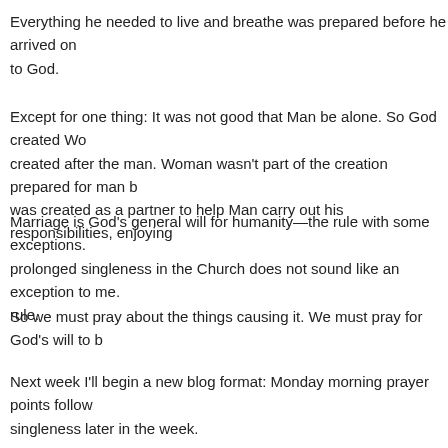Everything he needed to live and breathe was prepared before he arrived on… to God.
Except for one thing: It was not good that Man be alone. So God created Wo… created after the man. Woman wasn't part of the creation prepared for man b… was created as a partner to help Man carry out his responsibilities, enjoying…
Marriage is God's general will for humanity—the rule with some exceptions.… prolonged singleness in the Church does not sound like an exception to me.… rule.
So we must pray about the things causing it. We must pray for God's will to b…
Next week I'll begin a new blog format: Monday morning prayer points follow… singleness later in the week.